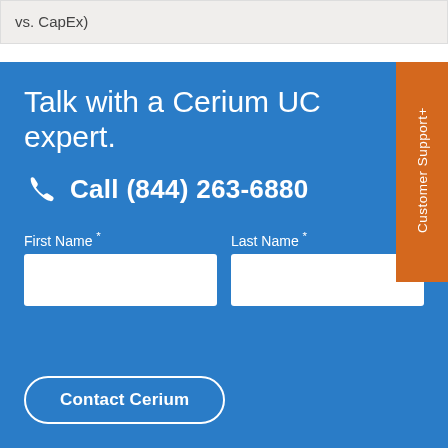vs. CapEx)
Talk with a Cerium UC expert.
Call (844) 263-6880
First Name *
Last Name *
Customer Support+
Contact Cerium